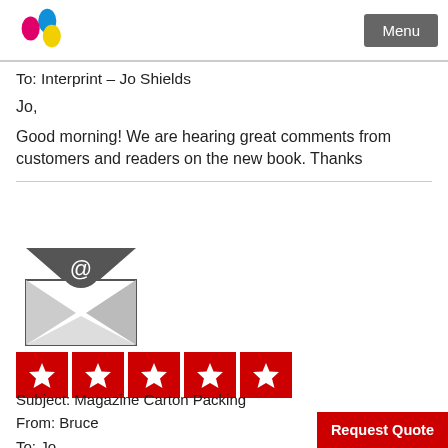Menu
To: Interprint – Jo Shields
Jo,
Good morning! We are hearing great comments from customers and readers on the new book. Thanks
[Figure (illustration): Open envelope icon with @ symbol, dark gray color]
[Figure (infographic): Five red star rating boxes in a row]
Subject: Magazine Carton Packing
From: Bruce
To: Jo